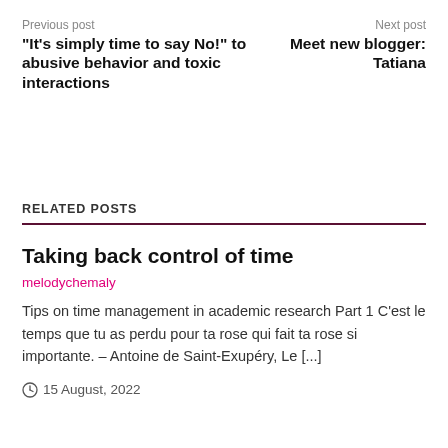Previous post
"It's simply time to say No!" to abusive behavior and toxic interactions
Next post
Meet new blogger: Tatiana
RELATED POSTS
Taking back control of time
melodychemaly
Tips on time management in academic research Part 1 C'est le temps que tu as perdu pour ta rose qui fait ta rose si importante. – Antoine de Saint-Exupéry, Le [...]
15 August, 2022